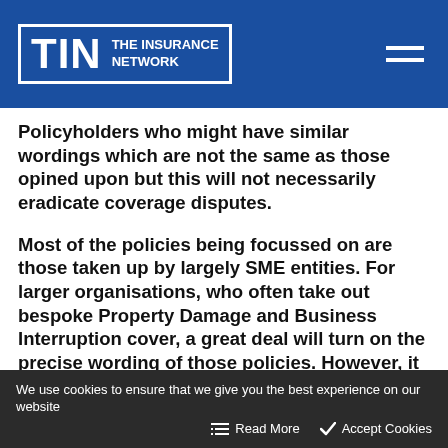TIN THE INSURANCE NETWORK
Policyholders who might have similar wordings which are not the same as those opined upon but this will not necessarily eradicate coverage disputes.
Most of the policies being focussed on are those taken up by largely SME entities. For larger organisations, who often take out bespoke Property Damage and Business Interruption cover, a great deal will turn on the precise wording of those policies. However, it may be that Insurance Brokers, when considering bespoke policies moving forward, seek to draft in wordings which the Court has
We use cookies to ensure that we give you the best experience on our website   Read More   Accept Cookies